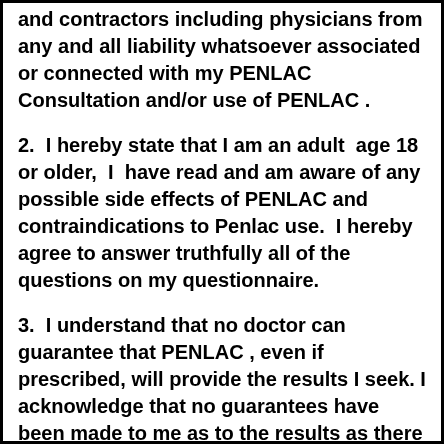and contractors including physicians from any and all liability whatsoever associated or connected with my PENLAC Consultation and/or use of PENLAC .
2.  I hereby state that I am an adult  age 18 or older,  I  have read and am aware of any possible side effects of PENLAC and contraindications to Penlac use.  I hereby agree to answer truthfully all of the questions on my questionnaire.
3.  I understand that no doctor can guarantee that PENLAC , even if prescribed, will provide the results I seek. I acknowledge that no guarantees have been made to me as to the results as there is no known medical treatment that gives 100% satisfaction to everyone, nor are there any guarantees against